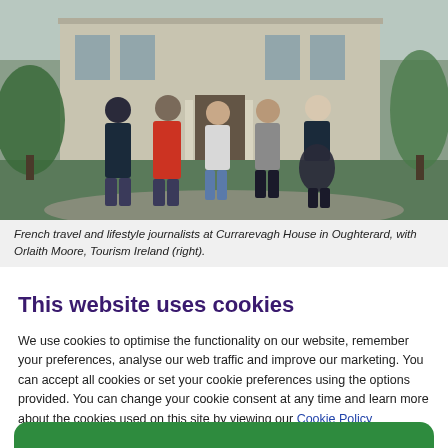[Figure (photo): Five people standing in front of a large country house (Currarevagh House in Oughterard). They are on a gravel driveway with green lawns and trees visible.]
French travel and lifestyle journalists at Currarevagh House in Oughterard, with Orlaith Moore, Tourism Ireland (right).
This website uses cookies
We use cookies to optimise the functionality on our website, remember your preferences, analyse our web traffic and improve our marketing. You can accept all cookies or set your cookie preferences using the options provided. You can change your cookie consent at any time and learn more about the cookies used on this site by viewing our Cookie Policy